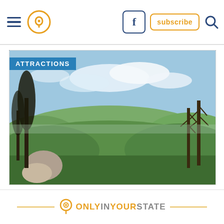Navigation bar with hamburger menu, location pin icon, Facebook button, subscribe button, search icon
[Figure (photo): Panoramic landscape view of forested hills in Arkansas from an elevated rocky overlook. Trees frame left and right sides, with rolling green hills and a partly cloudy sky in the background. A blue 'ATTRACTIONS' badge overlays the top-left corner.]
This Quiet Trail And Campground In Arkansas Is The Perfect Place For A Laid Back Weekend
ONLY IN YOUR STATE